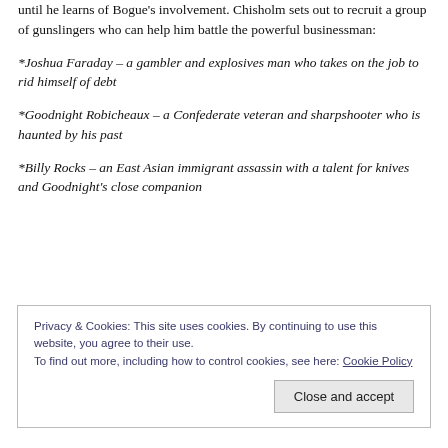until he learns of Bogue's involvement. Chisholm sets out to recruit a group of gunslingers who can help him battle the powerful businessman:
*Joshua Faraday – a gambler and explosives man who takes on the job to rid himself of debt
*Goodnight Robicheaux – a Confederate veteran and sharpshooter who is haunted by his past
*Billy Rocks – an East Asian immigrant assassin with a talent for knives and Goodnight's close companion
Privacy & Cookies: This site uses cookies. By continuing to use this website, you agree to their use. To find out more, including how to control cookies, see here: Cookie Policy